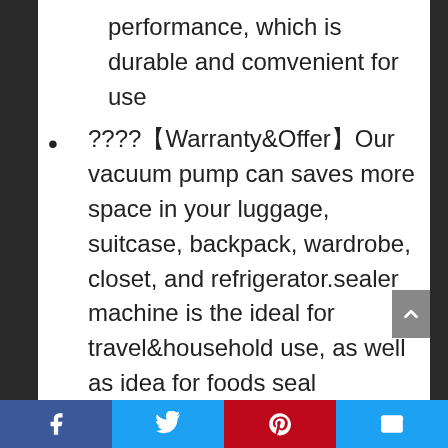performance, which is durable and comvenient for use
????【Warranty&Offer】Our vacuum pump can saves more space in your luggage, suitcase, backpack, wardrobe, closet, and refrigerator.sealer machine is the ideal for travel&household use, as well as idea for foods seal storage.Package Included:1 x Vacuum sealer and 8 x Vacuum Bags.100% money back if you change your mind after receiving! If you are not satisfied with our product or service for any reason